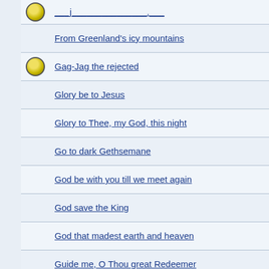From Greenland's icy mountains
Gag-Jag the rejected
Glory be to Jesus
Glory to Thee, my God, this night
Go to dark Gethsemane
God be with you till we meet again
God save the King
God that madest earth and heaven
Guide me, O Thou great Redeemer
Gulliver's travels: chapter I -- among the little people
Gulliver's travels: chapter II -- Gulliver among the gia
Hark! the glad sound
Hark! the herald angels sing